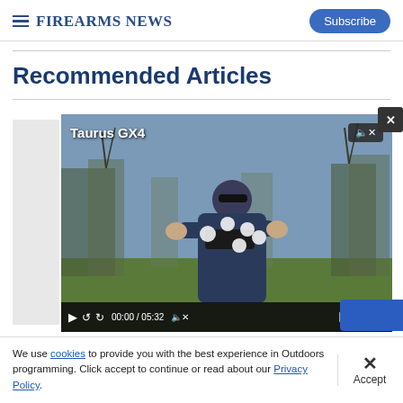Firearms News
Recommended Articles
[Figure (screenshot): Video player showing a man holding a Taurus GX4 pistol outdoors with trees in background. Video controls show 00:00 / 05:32. Label 'Taurus GX4' in top left.]
We use cookies to provide you with the best experience in Outdoors programming. Click accept to continue or read about our Privacy Policy.